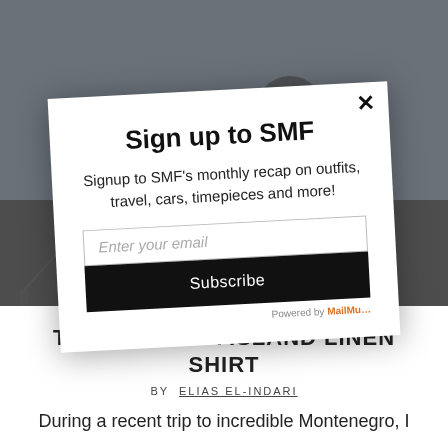[Figure (screenshot): Background photo of a person near water/boats, partially visible, darkened by overlay]
Sign up to SMF
Signup to SMF's monthly recap on outfits, travel, cars, timepieces and more!
Enter your email
Subscribe
Powered by MailMunch
T... ORTOLA ISLAND LINEN SHIRT
BY  ELIAS EL-INDARI
During a recent trip to incredible Montenegro, I